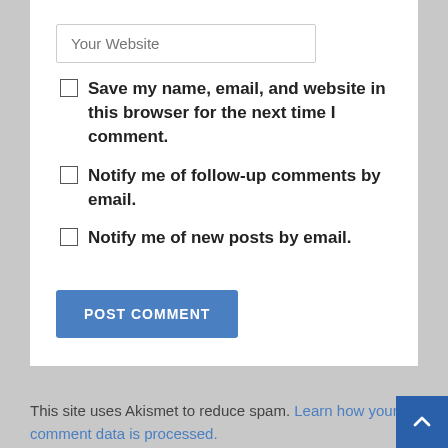Your Website
Save my name, email, and website in this browser for the next time I comment.
Notify me of follow-up comments by email.
Notify me of new posts by email.
POST COMMENT
This site uses Akismet to reduce spam. Learn how your comment data is processed.
Search ...